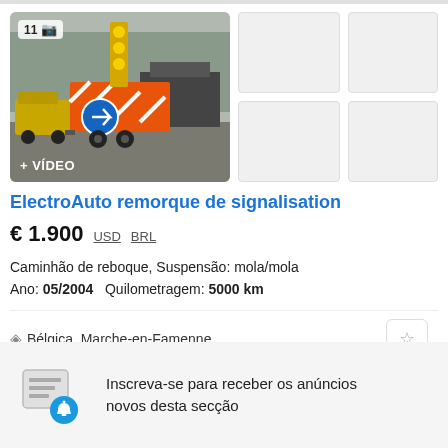[Figure (photo): Photo of ElectroAuto signaling trailer with yellow warning lights and red-white stripes, parked outdoors with yellow jeep visible on left and a truck in background. Badge shows '11' and camera icon. '+ VÍDEO' label at bottom left.]
ElectroAuto remorque de signalisation
€ 1.900  USD  BRL
Caminhão de reboque, Suspensão: mola/mola
Ano: 05/2004   Quilometragem: 5000 km
Bélgica, Marche-en-Famenne
Inscreva-se para receber os anúncios novos desta secção